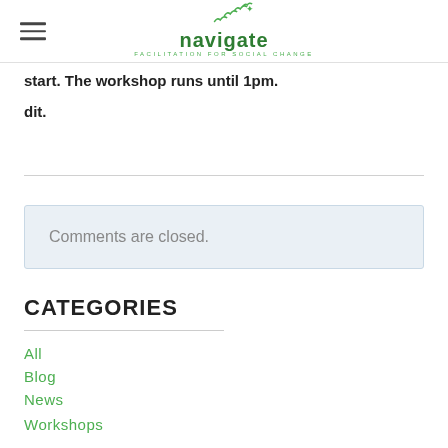navigate — FACILITATION FOR SOCIAL CHANGE
start. The works…1pm.
dit.
Comments are closed.
CATEGORIES
All
Blog
News
Workshops